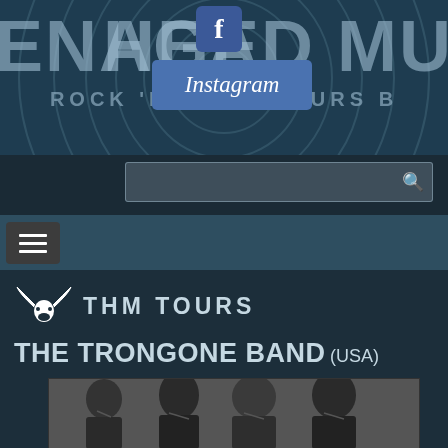ENAGE HEAD MU — ROCK 'N' ROLL TOURS B
[Figure (screenshot): Facebook button icon (blue square with white f)]
[Figure (screenshot): Instagram button (blue rectangle with Instagram text)]
[Figure (screenshot): Search bar with magnifying glass icon]
[Figure (screenshot): Hamburger navigation menu icon]
THM TOURS
THE TRONGONE BAND (USA)
[Figure (photo): Black and white photo of four bearded men — The Trongone Band]